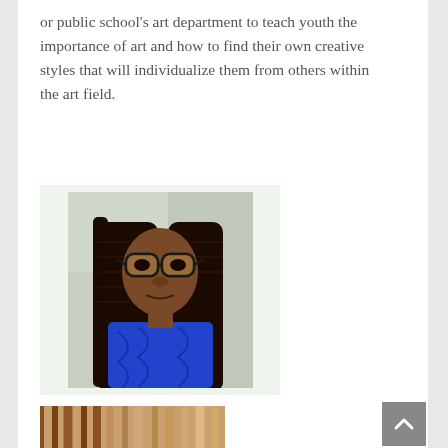or public school's art department to teach youth the importance of art and how to find their own creative styles that will individualize them from others within the art field.
[Figure (photo): Portrait photo of a young woman with braided hair and glasses wearing a blue top, selfie style taken in a car]
[Figure (photo): Partial photo visible at the bottom of the page, appears to show braided hair closeup]